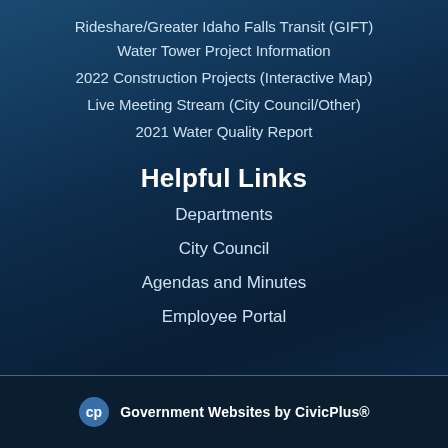Rideshare/Greater Idaho Falls Transit (GIFT)
Water Tower Project Information
2022 Construction Projects (Interactive Map)
Live Meeting Stream (City Council/Other)
2021 Water Quality Report
Helpful Links
Departments
City Council
Agendas and Minutes
Employee Portal
Government Websites by CivicPlus®